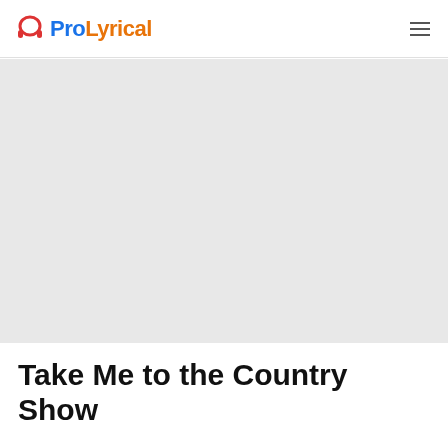ProLyrical
[Figure (photo): Large gray placeholder image area below the header navigation bar]
Take Me to the Country Show